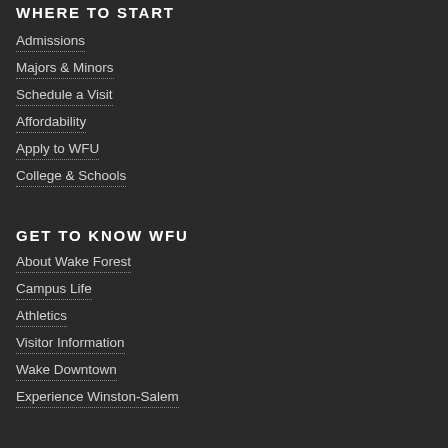WHERE TO START
Admissions
Majors & Minors
Schedule a Visit
Affordability
Apply to WFU
College & Schools
GET TO KNOW WFU
About Wake Forest
Campus Life
Athletics
Visitor Information
Wake Downtown
Experience Winston-Salem
RESOURCES